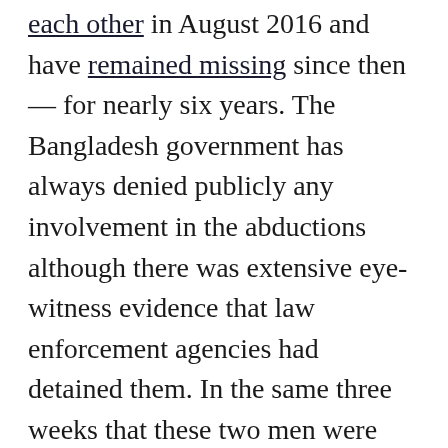each other in August 2016 and have remained missing since then — for nearly six years. The Bangladesh government has always denied publicly any involvement in the abductions although there was extensive eye-witness evidence that law enforcement agencies had detained them. In the same three weeks that these two men were picked up, Hummam Quader Chowdhury, the son of Salauddin Quader Chowdhury, another man executed following a war crimes conviction, was also detained by law enforcement authorities. However, Hummam — unlike the other two men — was released eight months later onto